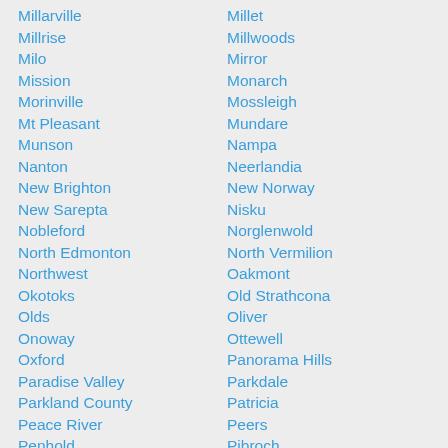Millarville
Millrise
Milo
Mission
Morinville
Mt Pleasant
Munson
Nanton
New Brighton
New Sarepta
Nobleford
North Edmonton
Northwest
Okotoks
Olds
Onoway
Oxford
Paradise Valley
Parkland County
Peace River
Penhold
Picture Butte
Pine Lake
Millet
Millwoods
Mirror
Monarch
Mossleigh
Mundare
Nampa
Neerlandia
New Norway
Nisku
Norglenwold
North Vermilion
Oakmont
Old Strathcona
Oliver
Ottewell
Panorama Hills
Parkdale
Patricia
Peers
Pibroch
Pincher Creek
Pineridge